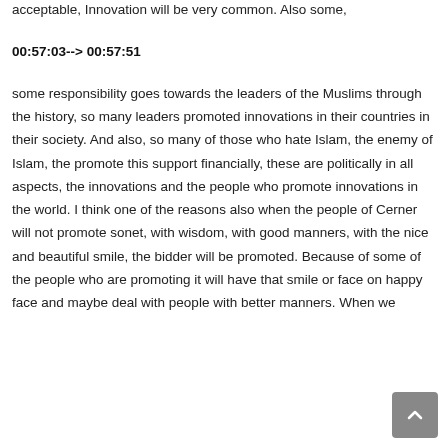acceptable, Innovation will be very common. Also some,
00:57:03--> 00:57:51
some responsibility goes towards the leaders of the Muslims through the history, so many leaders promoted innovations in their countries in their society. And also, so many of those who hate Islam, the enemy of Islam, the promote this support financially, these are politically in all aspects, the innovations and the people who promote innovations in the world. I think one of the reasons also when the people of Cerner will not promote sonet, with wisdom, with good manners, with the nice and beautiful smile, the bidder will be promoted. Because of some of the people who are promoting it will have that smile or face on happy face and maybe deal with people with better manners. When we